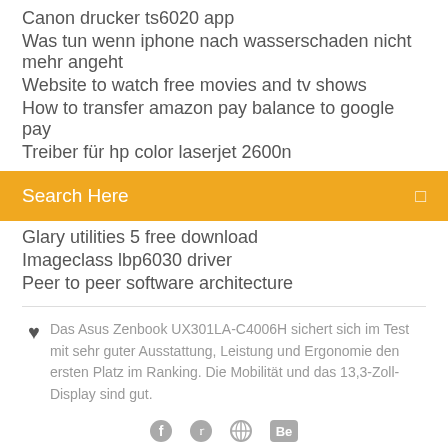Canon drucker ts6020 app
Was tun wenn iphone nach wasserschaden nicht mehr angeht
Website to watch free movies and tv shows
How to transfer amazon pay balance to google pay
Treiber für hp color laserjet 2600n
Search Here
Glary utilities 5 free download
Imageclass lbp6030 driver
Peer to peer software architecture
Das Asus Zenbook UX301LA-C4006H sichert sich im Test mit sehr guter Ausstattung, Leistung und Ergonomie den ersten Platz im Ranking. Die Mobilität und das 13,3-Zoll-Display sind gut.
[Figure (other): Social media icons: Facebook (f), Twitter (bird), a circular icon, Behance (Be)]